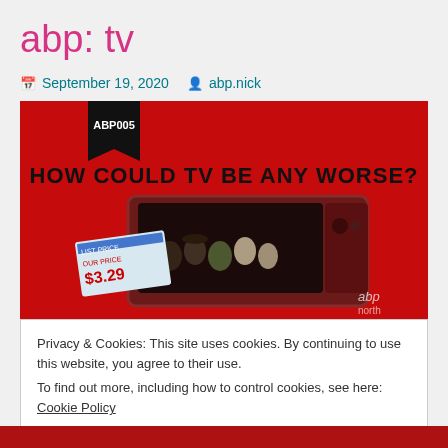abp: tv
September 19, 2020   abp.nick
[Figure (photo): Red promotional image with text 'HOW COULD TV BE ANY WORSE?' showing an old television set with people inside, price tag showing $3.29, label ABP005 in top left corner, abp logo bottom right]
Privacy & Cookies: This site uses cookies. By continuing to use this website, you agree to their use.
To find out more, including how to control cookies, see here: Cookie Policy
Close and accept